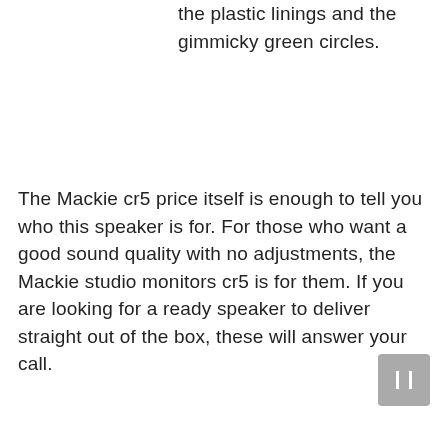the plastic linings and the gimmicky green circles.
The Mackie cr5 price itself is enough to tell you who this speaker is for. For those who want a good sound quality with no adjustments, the Mackie studio monitors cr5 is for them. If you are looking for a ready speaker to deliver straight out of the box, these will answer your call.